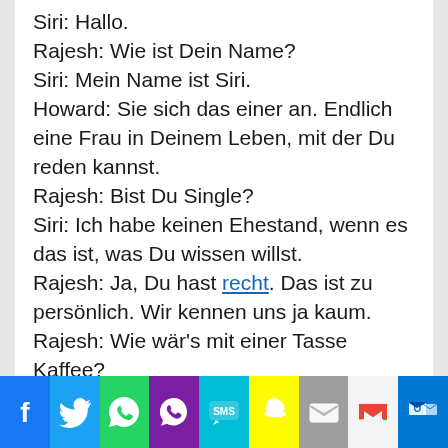Siri: Hallo.
Rajesh: Wie ist Dein Name?
Siri: Mein Name ist Siri.
Howard: Sie sich das einer an. Endlich eine Frau in Deinem Leben, mit der Du reden kannst.
Rajesh: Bist Du Single?
Siri: Ich habe keinen Ehestand, wenn es das ist, was Du wissen willst.
Rajesh: Ja, Du hast recht. Das ist zu persönlich. Wir kennen uns ja kaum.
Rajesh: Wie wär's mit einer Tasse Kaffee?
Siri: Ich habe sechs Cafés gefunden. Drei davon sind ganz in Deiner Nähe.
Rajesh: Wir sehen uns später, meine...
[Figure (infographic): Social sharing bar with icons: Facebook (blue), Twitter (light blue), WhatsApp (green), Phone/Viber (purple), SMS (cyan), Snapchat (yellow), Mail (grey), Gmail (light), Outlook (blue)]